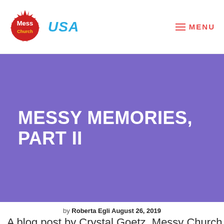Messy Church USA — MENU
MESSY MEMORIES, PART II
by Roberta Egli August 26, 2019
A blog post by Crystal Goetz, Messy Church